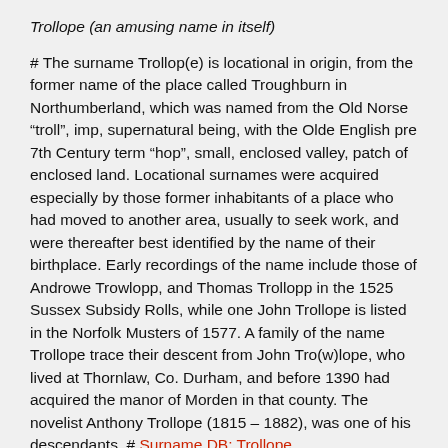Trollope (an amusing name in itself)
# The surname Trollop(e) is locational in origin, from the former name of the place called Troughburn in Northumberland, which was named from the Old Norse “troll”, imp, supernatural being, with the Olde English pre 7th Century term “hop”, small, enclosed valley, patch of enclosed land. Locational surnames were acquired especially by those former inhabitants of a place who had moved to another area, usually to seek work, and were thereafter best identified by the name of their birthplace. Early recordings of the name include those of Androwe Trowlopp, and Thomas Trollopp in the 1525 Sussex Subsidy Rolls, while one John Trollope is listed in the Norfolk Musters of 1577. A family of the name Trollope trace their descent from John Tro(w)lope, who lived at Thornlaw, Co. Durham, and before 1390 had acquired the manor of Morden in that county. The novelist Anthony Trollope (1815 – 1882), was one of his descendants. # Surname DB: Trollope